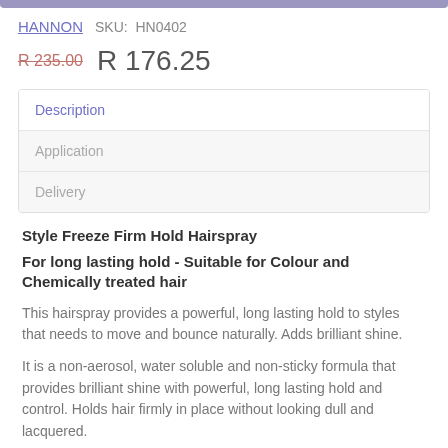HANNON   SKU:  HN0402
R 235.00  R 176.25
| Tab |
| --- |
| Description |
| Application |
| Delivery |
Style Freeze Firm Hold Hairspray
For long lasting hold - Suitable for Colour and Chemically treated hair
This hairspray provides a powerful, long lasting hold to styles that needs to move and bounce naturally. Adds brilliant shine.
It is a non-aerosol, water soluble and non-sticky formula that provides brilliant shine with powerful, long lasting hold and control. Holds hair firmly in place without looking dull and lacquered.